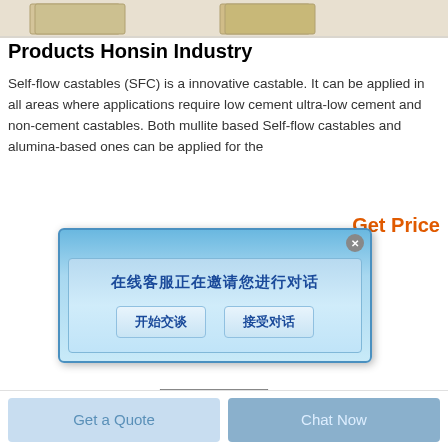[Figure (photo): Top banner showing product brick/castable blocks — beige/tan colored rectangular blocks on white background]
Products Honsin Industry
Self-flow castables (SFC) is a innovative castable. It can be applied in all areas where applications require low cement ultra-low cement and non-cement castables. Both mullite based Self-flow castables and alumina-based ones can be applied for the
Get Price
[Figure (screenshot): Chat popup dialog in Chinese with light blue gradient background. Title text: 在线客服正在邀请您进行对话. Two buttons: 开始交谈 (Start Chat) and 接受对话 (Accept Conversation). Close button (x) in top right corner.]
[Figure (photo): Dark grey/black tapered rectangular block product image — castable refractory brick shaped like a truncated pyramid]
Get a Quote
Chat Now